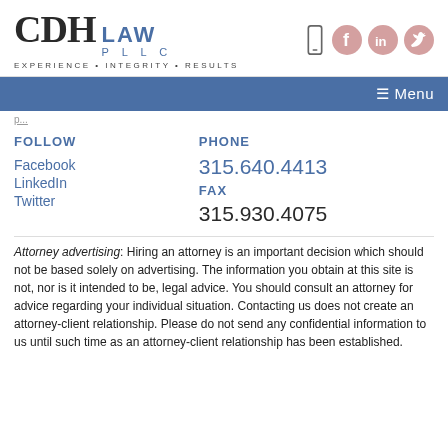[Figure (logo): CDH LAW PLLC logo with tagline EXPERIENCE • INTEGRITY • RESULTS and social media icons (phone, Facebook, LinkedIn, Twitter)]
☰ Menu
FOLLOW
Facebook
LinkedIn
Twitter
PHONE
315.640.4413
FAX
315.930.4075
Attorney advertising: Hiring an attorney is an important decision which should not be based solely on advertising. The information you obtain at this site is not, nor is it intended to be, legal advice. You should consult an attorney for advice regarding your individual situation. Contacting us does not create an attorney-client relationship. Please do not send any confidential information to us until such time as an attorney-client relationship has been established.